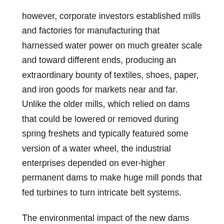however, corporate investors established mills and factories for manufacturing that harnessed water power on much greater scale and toward different ends, producing an extraordinary bounty of textiles, shoes, paper, and iron goods for markets near and far. Unlike the older mills, which relied on dams that could be lowered or removed during spring freshets and typically featured some version of a water wheel, the industrial enterprises depended on ever-higher permanent dams to make huge mill ponds that fed turbines to turn intricate belt systems.
The environmental impact of the new dams was immediate and dramatic, blocking migratory fish and flooding upstream meadows. Some local residents responded by removing flash boards and tearing down